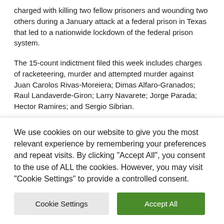charged with killing two fellow prisoners and wounding two others during a January attack at a federal prison in Texas that led to a nationwide lockdown of the federal prison system.
The 15-count indictment filed this week includes charges of racketeering, murder and attempted murder against Juan Carolos Rivas-Moreiera; Dimas Alfaro-Granados; Raul Landaverde-Giron; Larry Navarete; Jorge Parada; Hector Ramires; and Sergio Sibrian.
The seven remain in federal custody and court documents [cut off]
We use cookies on our website to give you the most relevant experience by remembering your preferences and repeat visits. By clicking "Accept All", you consent to the use of ALL the cookies. However, you may visit "Cookie Settings" to provide a controlled consent.